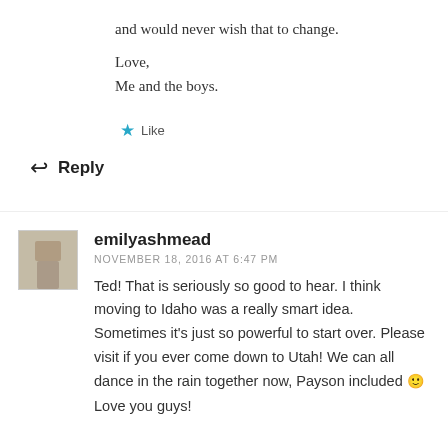and would never wish that to change.
Love,
Me and the boys.
★ Like
↩ Reply
[Figure (photo): Small avatar photo of emilyashmead, showing a blurred indoor scene]
emilyashmead
NOVEMBER 18, 2016 AT 6:47 PM
Ted! That is seriously so good to hear. I think moving to Idaho was a really smart idea. Sometimes it's just so powerful to start over. Please visit if you ever come down to Utah! We can all dance in the rain together now, Payson included 🙂
Love you guys!